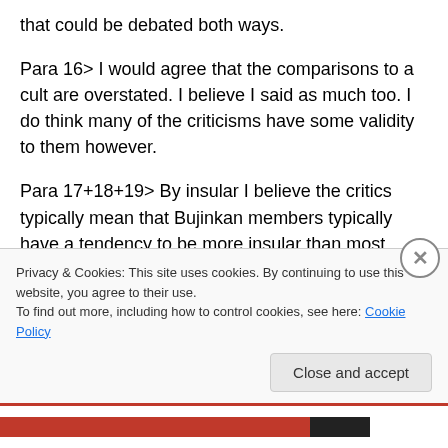that could be debated both ways.
Para 16> I would agree that the comparisons to a cult are overstated. I believe I said as much too. I do think many of the criticisms have some validity to them however.
Para 17+18+19> By insular I believe the critics typically mean that Bujinkan members typically have a tendency to be more insular than most other martial arts i.e. on the martial arts forum
Privacy & Cookies: This site uses cookies. By continuing to use this website, you agree to their use.
To find out more, including how to control cookies, see here: Cookie Policy
Close and accept